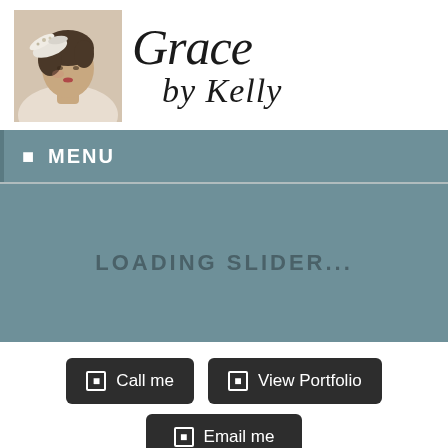[Figure (photo): Woman with decorative feather headpiece, hair in updo, side profile]
Grace by Kelly
☰ MENU
LOADING SLIDER...
☰ Call me
☰ View Portfolio
☰ Email me